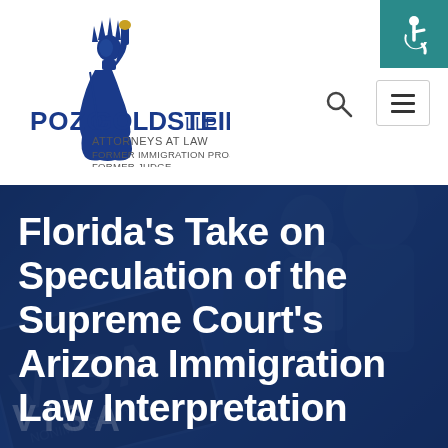[Figure (logo): Pozo Goldstein LLP law firm logo with Statue of Liberty figure. Text reads: POZO GOLDSTEIN, LLP ATTORNEYS AT LAW FORMER IMMIGRATION PROSECUTORS FORMER JUDGE]
[Figure (illustration): Teal/green accessibility wheelchair icon button in top right corner]
Florida’s Take on Speculation of the Supreme Court’s Arizona Immigration Law Interpretation